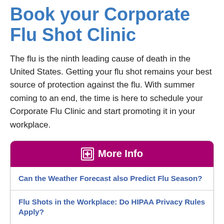Book your Corporate Flu Shot Clinic
The flu is the ninth leading cause of death in the United States. Getting your flu shot remains your best source of protection against the flu. With summer coming to an end, the time is here to schedule your Corporate Flu Clinic and start promoting it in your workplace.
More Info
Can the Weather Forecast also Predict Flu Season?
Flu Shots in the Workplace: Do HIPAA Privacy Rules Apply?
Your ROI (Return on Investment)